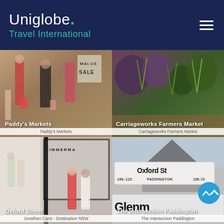[Figure (logo): Uniglobe Travel International logo on dark navy background with hamburger menu icon]
[Figure (photo): Street scene with shoppers at Paddy's Markets, people walking with shopping bags, MACS SALE sign visible]
Paddy's Markets
[Figure (photo): Carriageworks Farmers Market with colorful plants, herbs and flowers on display]
Carriageworks Farmers Market
[Figure (photo): Oxford Street shopping scene with two women outside Zimmermann boutique store]
Jonathan Cami - Destination NSW
[Figure (photo): Street signs for Oxford St Paddington 160-122 and 120-72, with Glenmore Rd sign below, The Intersection Paddington]
The Intersection Paddington